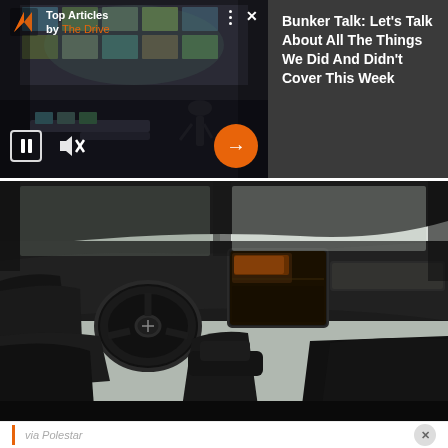[Figure (screenshot): Video player widget showing a control room scene with pause and mute buttons, orange play-next arrow button, and 'Top Articles by The Drive' branding overlay]
Bunker Talk: Let's Talk About All The Things We Did And Didn't Cover This Week
[Figure (photo): Interior of a Polestar electric vehicle showing the dashboard, large center touchscreen, steering wheel, and black seats]
via Polestar